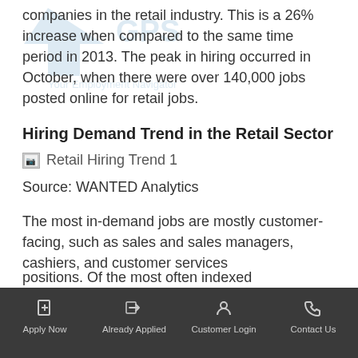companies in the retail industry. This is a 26% increase when compared to the same time period in 2013. The peak in hiring occurred in October, when there were over 140,000 jobs posted online for retail jobs.
Hiring Demand Trend in the Retail Sector
[Figure (other): Broken image placeholder labeled 'Retail Hiring Trend 1']
Source: WANTED Analytics
The most in-demand jobs are mostly customer-facing, such as sales and sales managers, cashiers, and customer services positions. Of the most often indeed...
Apply Now | Already Applied | Customer Login | Contact Us